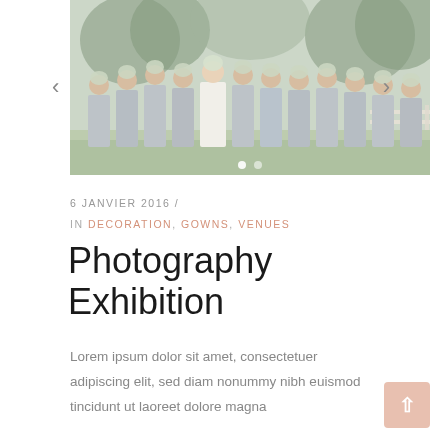[Figure (photo): Wedding photo slideshow showing bridesmaids in gray dresses holding bouquets in front of their faces, standing in a row outdoors with trees in background. Navigation arrows on left and right sides, pagination dots at bottom.]
6 JANVIER 2016 /
IN DECORATION, GOWNS, VENUES
Photography Exhibition
Lorem ipsum dolor sit amet, consectetuer adipiscing elit, sed diam nonummy nibh euismod tincidunt ut laoreet dolore magna diam nonummy nibh.